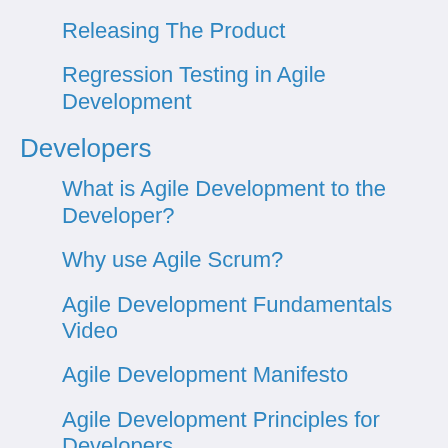Releasing The Product
Regression Testing in Agile Development
Developers
What is Agile Development to the Developer?
Why use Agile Scrum?
Agile Development Fundamentals Video
Agile Development Manifesto
Agile Development Principles for Developers
Agile Declaration of Interdependence
Agile and Scrum Methodology or Framework
The Scrum Framework and Implementing Scrum
Agile Roles for Scrum Team Developers with Video